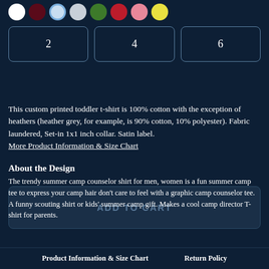[Figure (illustration): Color swatch circles in white, dark red, light blue (selected/outlined), light gray, green, red, pink, yellow]
[Figure (other): Size selector buttons showing sizes 2, 4, 6]
This custom printed toddler t-shirt is 100% cotton with the exception of heathers (heather grey, for example, is 90% cotton, 10% polyester). Fabric laundered, Set-in 1x1 inch collar. Satin label.
More Product Information & Size Chart
ADD TO CART
About the Design
The trendy summer camp counselor shirt for men, women is a fun summer camp tee to express your camp hair don't care to feel with a graphic camp counselor tee. A funny scouting shirt or kids' summer camp gift. Makes a cool camp director T-shirt for parents.
Product Information & Size Chart     Return Policy